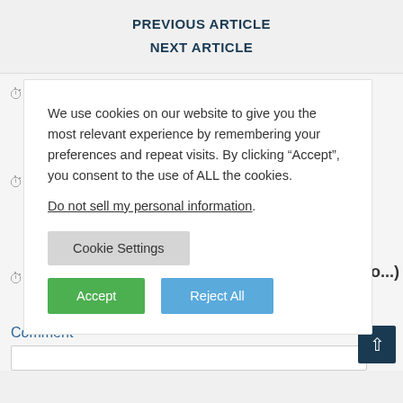PREVIOUS ARTICLE
NEXT ARTICLE
We use cookies on our website to give you the most relevant experience by remembering your preferences and repeat visits. By clicking “Accept”, you consent to the use of ALL the cookies.
Do not sell my personal information.
Cookie Settings
Accept
Reject All
nk (or two...)
Comment